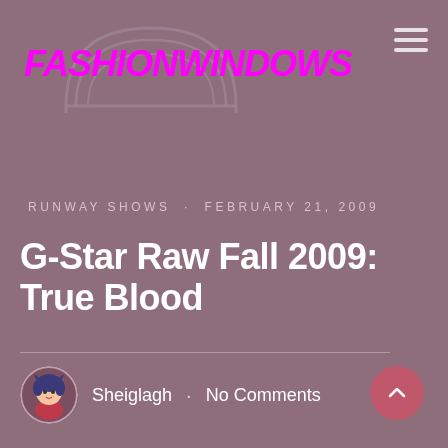FashionWindows
RUNWAY SHOWS · FEBRUARY 21, 2009
G-Star Raw Fall 2009: True Blood
Sheiglagh · No Comments